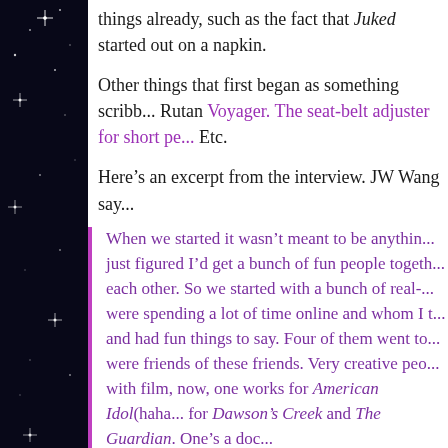things already, such as the fact that Juked started out on a napkin.
Other things that first began as something scribbled... Rutan Voyager. The seat-belt adjuster for short pe... Etc.
Here's an excerpt from the interview. JW Wang say...
When we started it wasn't meant to be anything... just figured I'd get a bunch of fun people together... each other. So we started with a bunch of real-... were spending a lot of time online and whom I t... and had fun things to say. Four of them went to... were friends of these friends. Very creative peo... with film, now, one works for American Idol(haha... for Dawson's Creek and The Guardian. One's a doc...